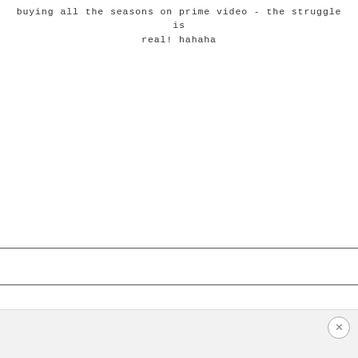buying all the seasons on prime video - the struggle is real! hahaha